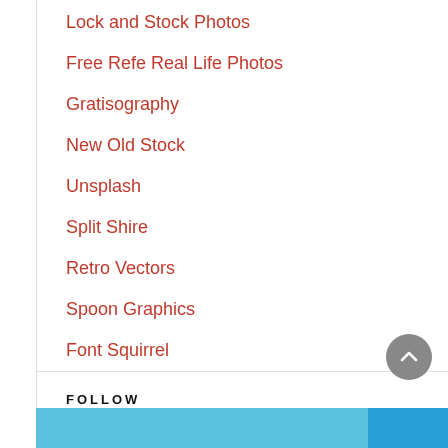Lock and Stock Photos
Free Refe Real Life Photos
Gratisography
New Old Stock
Unsplash
Split Shire
Retro Vectors
Spoon Graphics
Font Squirrel
FOLLOW